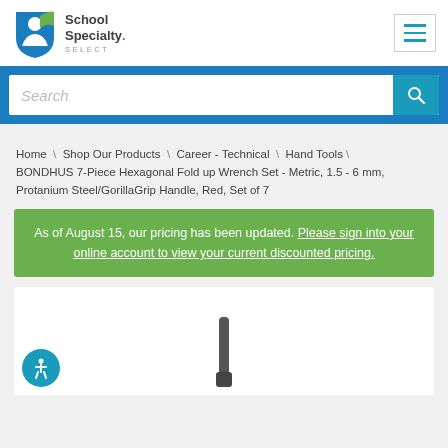[Figure (logo): School Specialty Select logo with blue/green shield icon]
Search
Home \ Shop Our Products \ Career - Technical \ Hand Tools BONDHUS 7-Piece Hexagonal Fold up Wrench Set - Metric, 1.5 - 6 mm, Protanium Steel/GorillaGrip Handle, Red, Set of 7
As of August 15, our pricing has been updated. Please sign into your online account to view your current discounted pricing.
[Figure (photo): Product image area - white card with partial product image visible at bottom]